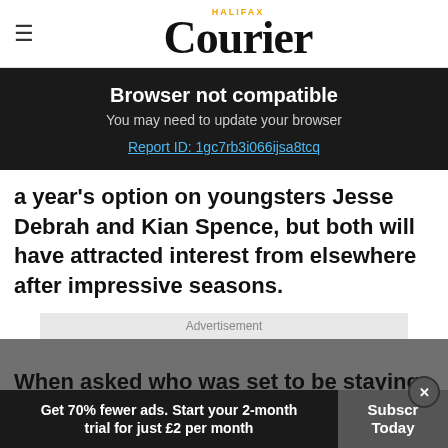Halifax Courier
Browser not compatible
You may need to update your browser
Report ID: 1gc7rb3i066ijsa8tcq
a year's option on youngsters Jesse Debrah and Kian Spence, but both will have attracted interest from elsewhere after impressive seasons.
Advertisement
When asked who was set to be staying or going,
Get 70% fewer ads. Start your 2-month trial for just £2 per month
Subscribe Today